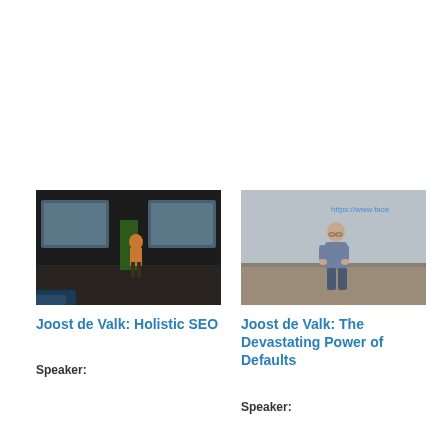[Figure (photo): Joost de Valk speaking on stage in an orange shirt with presentation screens in background and a green banner]
Joost de Valk: Holistic SEO
Speaker:
[Figure (photo): Joost de Valk speaking on stage in a grey shirt with a URL 'https://www.face...' visible in background]
Joost de Valk: The Devastating Power of Defaults
Speaker: